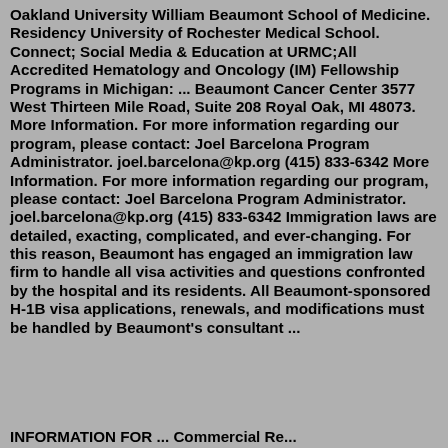Oakland University William Beaumont School of Medicine. Residency University of Rochester Medical School. Connect; Social Media & Education at URMC;All Accredited Hematology and Oncology (IM) Fellowship Programs in Michigan: ... Beaumont Cancer Center 3577 West Thirteen Mile Road, Suite 208 Royal Oak, MI 48073. More Information. For more information regarding our program, please contact: Joel Barcelona Program Administrator. joel.barcelona@kp.org (415) 833-6342 More Information. For more information regarding our program, please contact: Joel Barcelona Program Administrator. joel.barcelona@kp.org (415) 833-6342 Immigration laws are detailed, exacting, complicated, and ever-changing. For this reason, Beaumont has engaged an immigration law firm to handle all visa activities and questions confronted by the hospital and its residents. All Beaumont-sponsored H-1B visa applications, renewals, and modifications must be handled by Beaumont's consultant ... INFORMATION FOR ... Commercial Re...